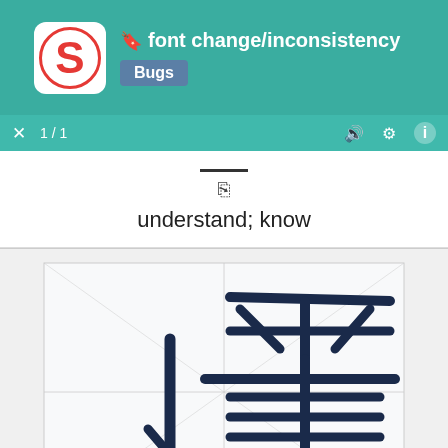🔖 font change/inconsistency — Bugs
understand; know
[Figure (illustration): Hand-drawn Chinese character (悟 - understand/know) being written stroke by stroke on a grid canvas. A blue stroke is being added at the bottom. Page counter shows 8/11 in teal at bottom right.]